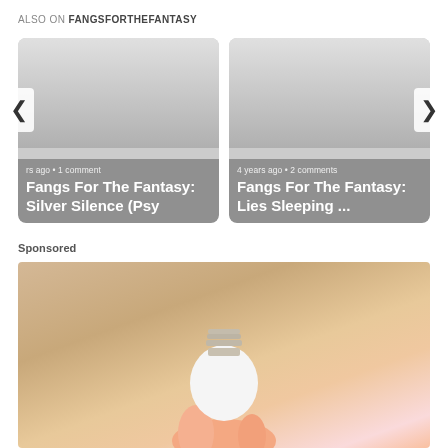ALSO ON FANGSFORTHEFANTASY
[Figure (screenshot): Card carousel showing two article cards: 'Fangs For The Fantasy: Silver Silence (Psy' with metadata 'rs ago • 1 comment' and 'Fangs For The Fantasy: Lies Sleeping ...' with metadata '4 years ago • 2 comments', with left and right navigation arrows]
Sponsored
[Figure (photo): A hand holding a white LED light bulb against a wooden background, sponsored advertisement image]